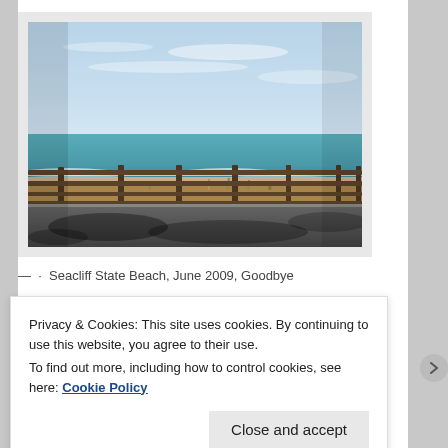[Figure (photo): A beach scene at Seacliff State Beach. Sky is light blue with thin clouds in the upper portion. The ocean (teal/green-blue) occupies the middle band. A wooden fence runs horizontally across the lower-middle of the frame. Brown dry brush/grass is visible near the fence. A paved road/path with dark shadows is in the foreground.]
— · Seacliff State Beach, June 2009, Goodbye
Privacy & Cookies: This site uses cookies. By continuing to use this website, you agree to their use.
To find out more, including how to control cookies, see here: Cookie Policy